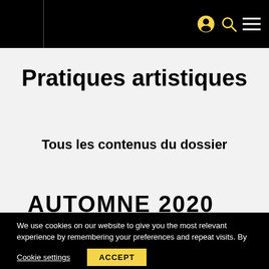Navigation header with user icon, search icon, and menu icon
Pratiques artistiques
Tous les contenus du dossier
AUTOMNE 2020
We use cookies on our website to give you the most relevant experience by remembering your preferences and repeat visits. By clicking "Accept", you consent to the use of ALL the cookies.
Cookie settings
ACCEPT